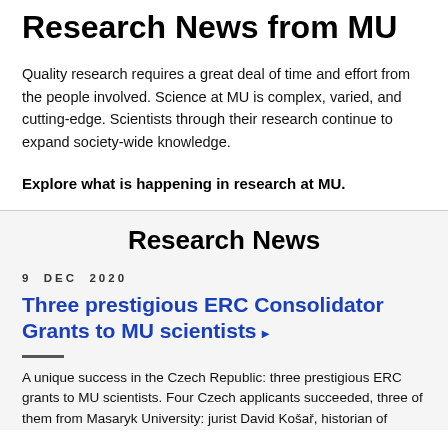Research News from MU
Quality research requires a great deal of time and effort from the people involved. Science at MU is complex, varied, and cutting-edge. Scientists through their research continue to expand society-wide knowledge.
Explore what is happening in research at MU.
Research News
9 DEC 2020
Three prestigious ERC Consolidator Grants to MU scientists
A unique success in the Czech Republic: three prestigious ERC grants to MU scientists. Four Czech applicants succeeded, three of them from Masaryk University: jurist David Košař, historian of